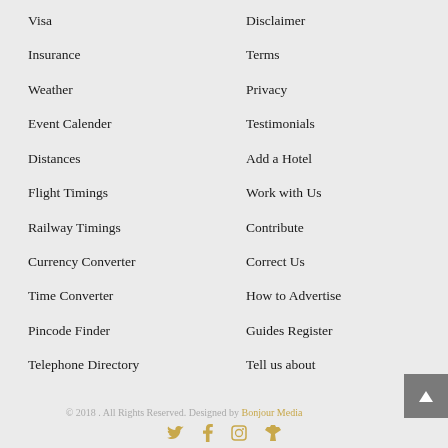Visa
Insurance
Weather
Event Calender
Distances
Flight Timings
Railway Timings
Currency Converter
Time Converter
Pincode Finder
Telephone Directory
Foreign Embassies
Indian Embassies
Disclaimer
Terms
Privacy
Testimonials
Add a Hotel
Work with Us
Contribute
Correct Us
How to Advertise
Guides Register
Tell us about
Your Trip
Back to Home
© 2018 . All Rights Reserved. Designed by Bonjour Media